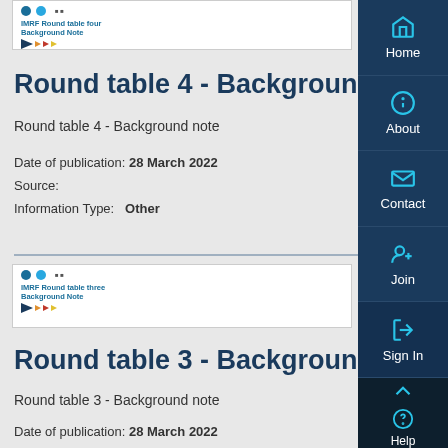[Figure (screenshot): IMRF Round table four Background Note document cover image with logos and colored arrows]
Round table 4 - Background note
Round table 4 - Background note
Date of publication: 28 March 2022
Source:
Information Type:    Other
[Figure (screenshot): IMRF Round table three Background Note document cover image with logos and colored arrows]
Round table 3 - Background note
Round table 3 - Background note
Date of publication: 28 March 2022
Source:
Information Type:    Other